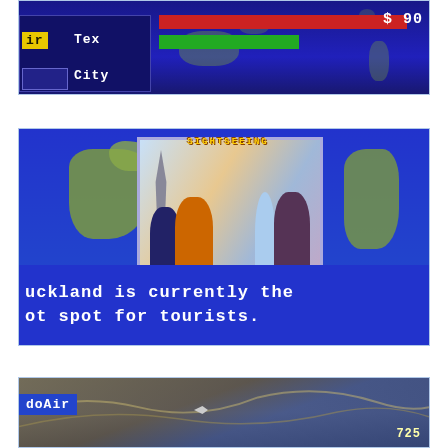[Figure (screenshot): Video game screenshot showing a world map with UI elements: a yellow/blue panel with 'ir', 'Tex', 'City' labels, red and green health/status bars, and '$90' money display on dark blue background.]
[Figure (screenshot): Video game screenshot showing a world map with a 'SIGHTSEEING' dialog box containing cartoon illustration of tourists at landmarks (Big Ben, Statue of Liberty). Text at bottom reads 'uckland is currently the ot spot for tourists.']
[Figure (screenshot): Video game screenshot showing a terrain/map view from above with 'doAir' label on blue UI panel, a small plane icon, and number '725' at bottom right.]